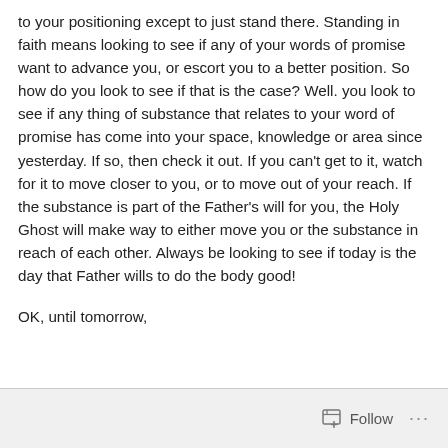to your positioning except to just stand there. Standing in faith means looking to see if any of your words of promise want to advance you, or escort you to a better position. So how do you look to see if that is the case? Well. you look to see if any thing of substance that relates to your word of promise has come into your space, knowledge or area since yesterday. If so, then check it out. If you can't get to it, watch for it to move closer to you, or to move out of your reach. If the substance is part of the Father's will for you, the Holy Ghost will make way to either move you or the substance in reach of each other. Always be looking to see if today is the day that Father wills to do the body good!
OK, until tomorrow,
Follow ...